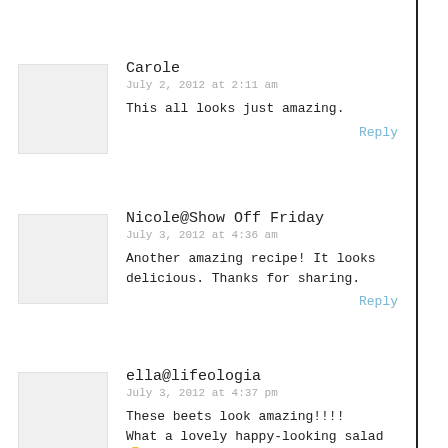Carole
July 2, 2012 at 2:11 am
This all looks just amazing.
Reply
Nicole@Show Off Friday
July 3, 2012 at 4:36 am
Another amazing recipe! It looks delicious. Thanks for sharing.
Reply
ella@lifeologia
July 3, 2012 at 4:37 pm
These beets look amazing!!!! What a lovely happy-looking salad 🙂 Thanks for sharing it at the Potluck